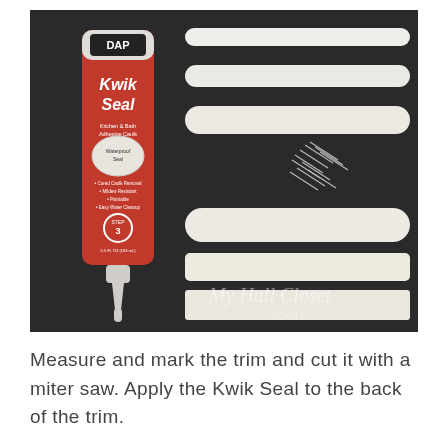[Figure (photo): Photo of DIY supplies on a dark background: a red DAP Kwik Seal Kitchen & Bath Adhesive Caulk tube on the left, and several white trim/molding strips of different profiles arranged horizontally on the right, along with a small pile of finishing nails. Watermark reads 'My Hall Closet ©2017'.]
Measure and mark the trim and cut it with a miter saw. Apply the Kwik Seal to the back of the trim.